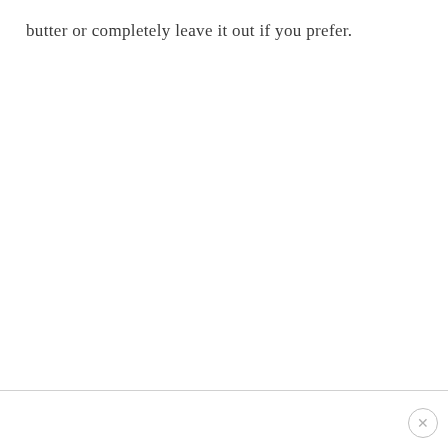butter or completely leave it out if you prefer.
×